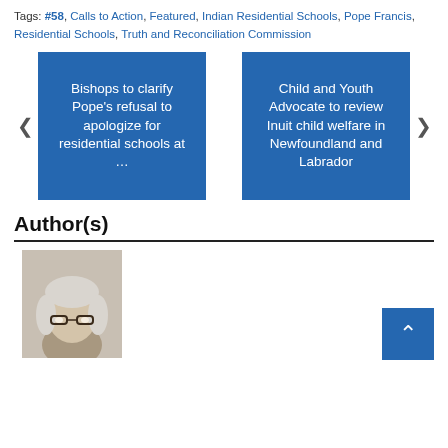Tags: #58, Calls to Action, Featured, Indian Residential Schools, Pope Francis, Residential Schools, Truth and Reconciliation Commission
[Figure (other): Navigation card: Bishops to clarify Pope's refusal to apologize for residential schools at ... (blue background, left arrow)]
[Figure (other): Navigation card: Child and Youth Advocate to review Inuit child welfare in Newfoundland and Labrador (blue background, right arrow)]
Author(s)
[Figure (photo): Headshot photo of a woman with white/blonde hair and glasses]